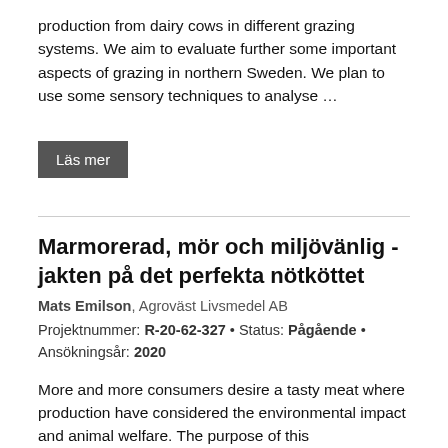production from dairy cows in different grazing systems. We aim to evaluate further some important aspects of grazing in northern Sweden. We plan to use some sensory techniques to analyse …
Läs mer
Marmorerad, mör och miljövänlig - jakten på det perfekta nötköttet
Mats Emilson, Agroväst Livsmedel AB
Projektnummer: R-20-62-327 • Status: Pågående • Ansökningsår: 2020
More and more consumers desire a tasty meat where production have considered the environmental impact and animal welfare. The purpose of this interdisciplinary project is to determine how to produce such a product while still make the production profitable, climate efficient and otherwise …